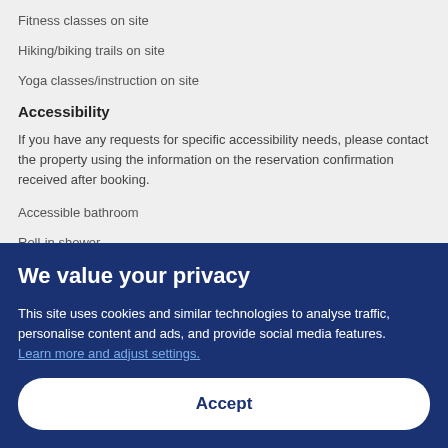Fitness classes on site
Hiking/biking trails on site
Yoga classes/instruction on site
Accessibility
If you have any requests for specific accessibility needs, please contact the property using the information on the reservation confirmation received after booking.
Accessible bathroom
Roll-in shower
Wheelchair-accessible parking
We value your privacy
This site uses cookies and similar technologies to analyse traffic, personalise content and ads, and provide social media features. Learn more and adjust settings.
Accept